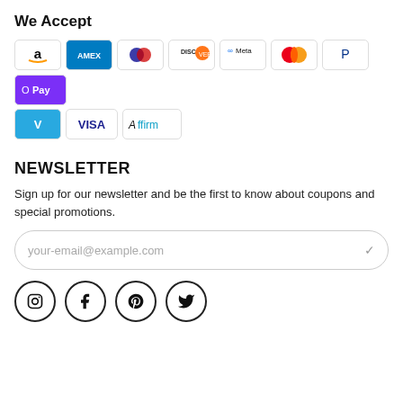We Accept
[Figure (infographic): Row of payment method logos: Amazon Pay, Amex, Diners Club, Discover, Meta Pay, Mastercard, PayPal, Google Pay/OPay, Venmo, Visa, Affirm]
NEWSLETTER
Sign up for our newsletter and be the first to know about coupons and special promotions.
[Figure (screenshot): Email input field with placeholder text 'your-email@example.com' and a checkmark icon]
[Figure (infographic): Social media icons row: Instagram, Facebook, Pinterest, Twitter — each in a circle border]